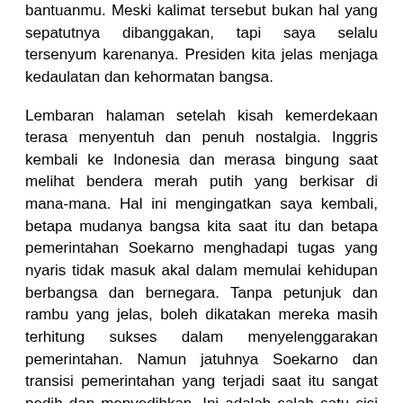bantuanmu. Meski kalimat tersebut bukan hal yang sepatutnya dibanggakan, tapi saya selalu tersenyum karenanya. Presiden kita jelas menjaga kedaulatan dan kehormatan bangsa.
Lembaran halaman setelah kisah kemerdekaan terasa menyentuh dan penuh nostalgia. Inggris kembali ke Indonesia dan merasa bingung saat melihat bendera merah putih yang berkisar di mana-mana. Hal ini mengingatkan saya kembali, betapa mudanya bangsa kita saat itu dan betapa pemerintahan Soekarno menghadapi tugas yang nyaris tidak masuk akal dalam memulai kehidupan berbangsa dan bernegara. Tanpa petunjuk dan rambu yang jelas, boleh dikatakan mereka masih terhitung sukses dalam menyelenggarakan pemerintahan. Namun jatuhnya Soekarno dan transisi pemerintahan yang terjadi saat itu sangat pedih dan menyedihkan. Ini adalah salah satu sisi sejarah bangsa kita yang tidak begitu jelas kebenarannya. Tidak ada satu sumber benar-benar bisa dipercaya tentang kudeta yang terjadi di tahun 1965. Setelah pembantaian yang terjadi ketika pemberontakan PKI diatasi (dan bagian ini tidak pernah diajarkan di sekolah), Soekarno digulingkan dan sejak itu ia tidak pernah benar-benar memperoleh